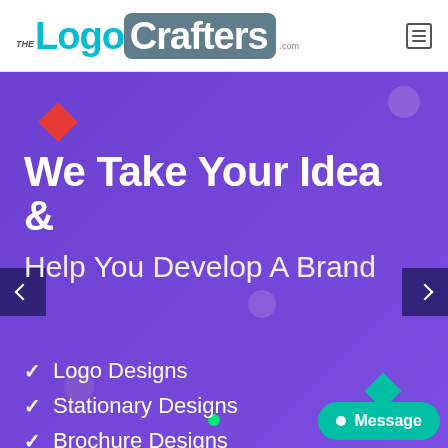[Figure (logo): TheLogoCrafters.com logo — 'THE' in small italic, 'Logo' in teal, 'Crafters' in white on dark grey rounded rectangle, '.com' below]
We Take Your Idea &
Help You Develop A Brand
✓ Logo Designs
✓ Stationary Designs
✓ Brochure Designs
✓ Social Media Designs
Message